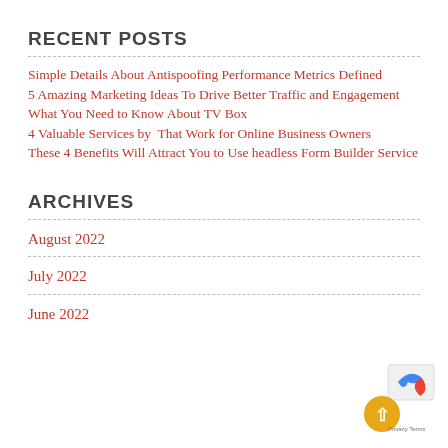RECENT POSTS
Simple Details About Antispoofing Performance Metrics Defined
5 Amazing Marketing Ideas To Drive Better Traffic and Engagement
What You Need to Know About TV Box
4 Valuable Services by  That Work for Online Business Owners
These 4 Benefits Will Attract You to Use headless Form Builder Service
ARCHIVES
August 2022
July 2022
June 2022